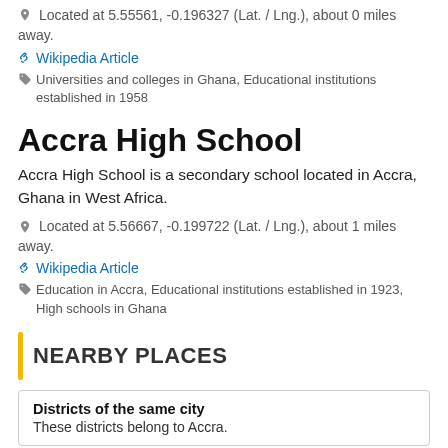Located at 5.55561, -0.196327 (Lat. / Lng.), about 0 miles away.
Wikipedia Article
Universities and colleges in Ghana, Educational institutions established in 1958
Accra High School
Accra High School is a secondary school located in Accra, Ghana in West Africa.
Located at 5.56667, -0.199722 (Lat. / Lng.), about 1 miles away.
Wikipedia Article
Education in Accra, Educational institutions established in 1923, High schools in Ghana
NEARBY PLACES
Districts of the same city
These districts belong to Accra.